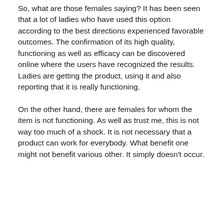So, what are those females saying? It has been seen that a lot of ladies who have used this option according to the best directions experienced favorable outcomes. The confirmation of its high quality, functioning as well as efficacy can be discovered online where the users have recognized the results. Ladies are getting the product, using it and also reporting that it is really functioning.
On the other hand, there are females for whom the item is not functioning. As well as trust me, this is not way too much of a shock. It is not necessary that a product can work for everybody. What benefit one might not benefit various other. It simply doesn't occur.